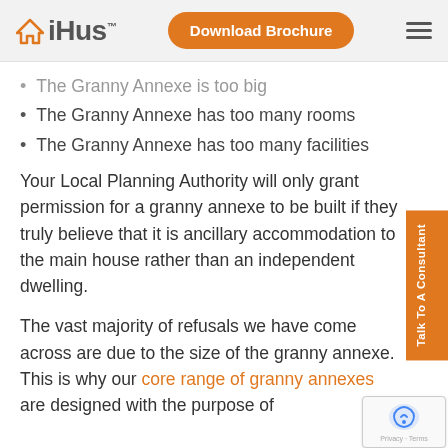iHus | Download Brochure
The Granny Annexe is too big
The Granny Annexe has too many rooms
The Granny Annexe has too many facilities
Your Local Planning Authority will only grant permission for a granny annexe to be built if they truly believe that it is ancillary accommodation to the main house rather than an independent dwelling.
The vast majority of refusals we have come across are due to the size of the granny annexe. This is why our core range of granny annexes are designed with the purpose of